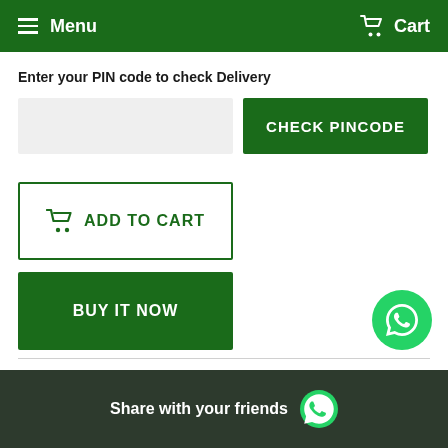Menu  Cart
Enter your PIN code to check Delivery
[Figure (screenshot): PIN code input field and CHECK PINCODE button]
[Figure (screenshot): ADD TO CART and BUY IT NOW buttons]
[Figure (screenshot): WhatsApp floating action button]
Share with your friends